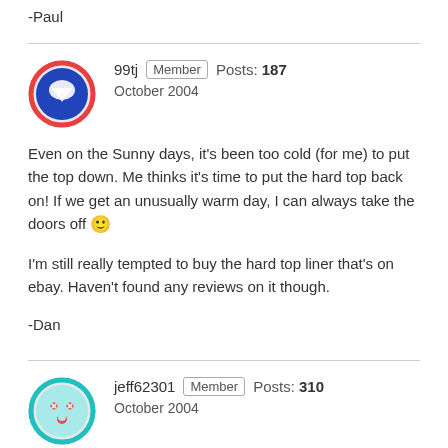-Paul
99tj  Member  Posts: 187  October 2004
Even on the Sunny days, it's been too cold (for me) to put the top down. Me thinks it's time to put the hard top back on! If we get an unusually warm day, I can always take the doors off 🙂

I'm still really tempted to buy the hard top liner that's on ebay. Haven't found any reviews on it though.

-Dan
jeff62301  Member  Posts: 310  October 2004
are you going to wire it for pulling a trailer too? if so, hoppy's